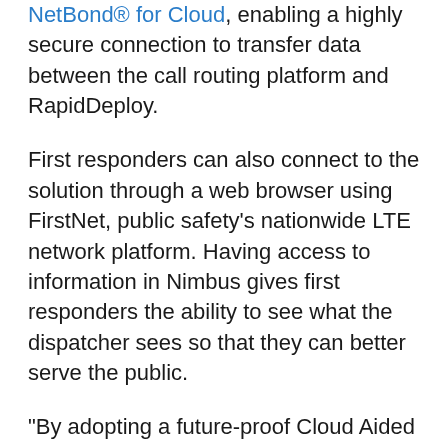NetBond® for Cloud, enabling a highly secure connection to transfer data between the call routing platform and RapidDeploy.
First responders can also connect to the solution through a web browser using FirstNet, public safety's nationwide LTE network platform. Having access to information in Nimbus gives first responders the ability to see what the dispatcher sees so that they can better serve the public.
“By adopting a future-proof Cloud Aided Dispatch and mapping platform, the State of Kansas is leading the nation by realizing the full potential of Next Generation 911 CAD,” said Steve Raucher, CEO & Co-Founder of RapidDeploy. “911 centers across Kansas will have access to improved